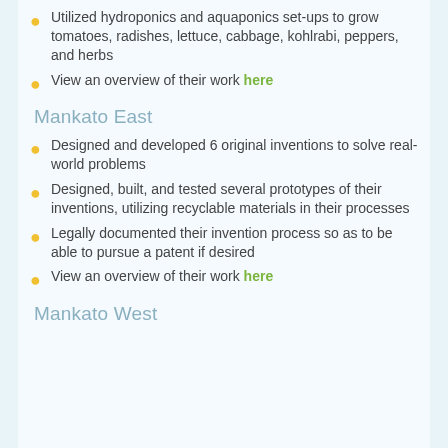Utilized hydroponics and aquaponics set-ups to grow tomatoes, radishes, lettuce, cabbage, kohlrabi, peppers, and herbs
View an overview of their work here
Mankato East
Designed and developed 6 original inventions to solve real-world problems
Designed, built, and tested several prototypes of their inventions, utilizing recyclable materials in their processes
Legally documented their invention process so as to be able to pursue a patent if desired
View an overview of their work here
Mankato West